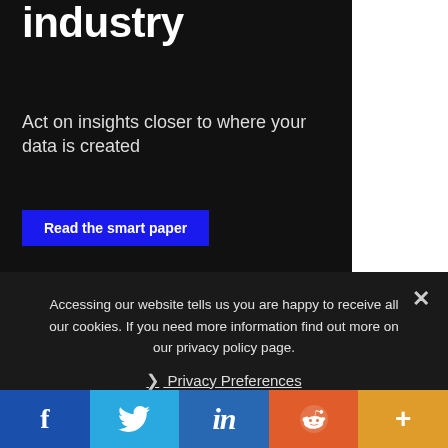industry
Act on insights closer to where your data is created
Read the smart paper
[Figure (other): Dark decorative dot-grid background with a faint glowing shape in the center-bottom area]
Accessing our website tells us you are happy to receive all our cookies. If you need more information find out more on our privacy policy page.
Privacy Preferences
f
in
+